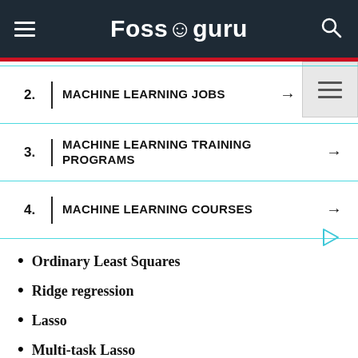Fossoguru
2. MACHINE LEARNING JOBS →
3. MACHINE LEARNING TRAINING PROGRAMS →
4. MACHINE LEARNING COURSES →
Ordinary Least Squares
Ridge regression
Lasso
Multi-task Lasso
Elastic-Net